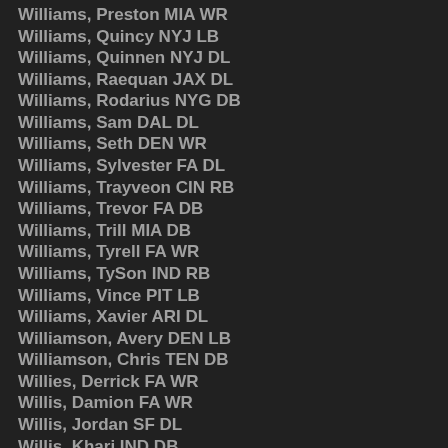Williams, Preston MIA WR
Williams, Quincy NYJ LB
Williams, Quinnen NYJ DL
Williams, Raequan JAX DL
Williams, Rodarius NYG DB
Williams, Sam DAL DL
Williams, Seth DEN WR
Williams, Sylvester FA DL
Williams, Trayveon CIN RB
Williams, Trevor FA DB
Williams, Trill MIA DB
Williams, Tyrell FA WR
Williams, TySon IND RB
Williams, Vince PIT LB
Williams, Xavier ARI DL
Williamson, Avery DEN LB
Williamson, Chris TEN DB
Willies, Derrick FA WR
Willis, Damion FA WR
Willis, Jordan SF DL
Willis, Khari IND DB
Willis, Malik TEN QB
Wilson, Albert MIN WR
Wilson, Brandon CIN DB
Wilson, Caleb FA TE
Wilson, [partial] [team] WR